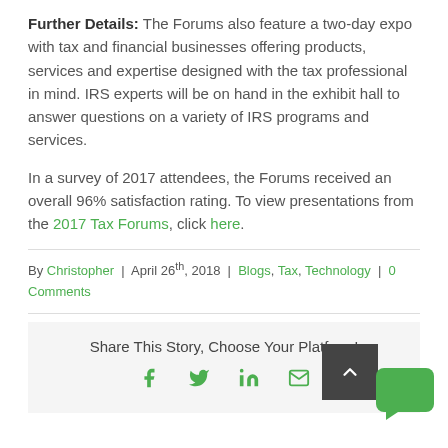Further Details: The Forums also feature a two-day expo with tax and financial businesses offering products, services and expertise designed with the tax professional in mind. IRS experts will be on hand in the exhibit hall to answer questions on a variety of IRS programs and services.
In a survey of 2017 attendees, the Forums received an overall 96% satisfaction rating. To view presentations from the 2017 Tax Forums, click here.
By Christopher | April 26th, 2018 | Blogs, Tax, Technology | 0 Comments
Share This Story, Choose Your Platform!